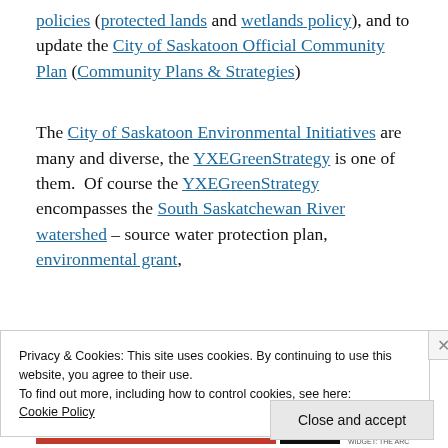policies (protected lands and wetlands policy), and to update the City of Saskatoon Official Community Plan (Community Plans & Strategies)
The City of Saskatoon Environmental Initiatives are many and diverse, the YXEGreenStrategy is one of them.  Of course the YXEGreenStrategy encompasses the South Saskatchewan River watershed – source water protection plan, environmental grant,
Privacy & Cookies: This site uses cookies. By continuing to use this website, you agree to their use.
To find out more, including how to control cookies, see here:
Cookie Policy
Close and accept